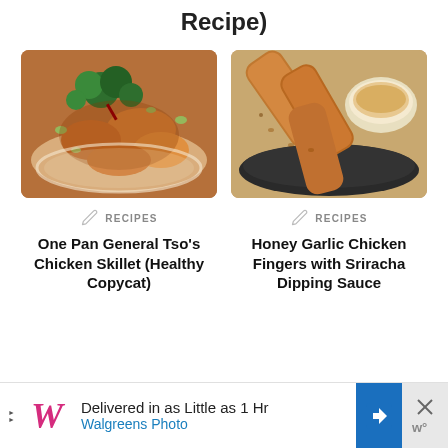Recipe)
[Figure (photo): Chinese-style stir-fry dish with chicken, broccoli, and green onions in a sauced skillet]
[Figure (photo): Crispy breaded chicken fingers on a dark plate with a bowl of creamy dipping sauce]
RECIPES
One Pan General Tso’s Chicken Skillet (Healthy Copycat)
RECIPES
Honey Garlic Chicken Fingers with Sriracha Dipping Sauce
[Figure (infographic): Walgreens Photo advertisement banner: Delivered in as Little as 1 Hr, Walgreens Photo, with logo and navigation arrow]